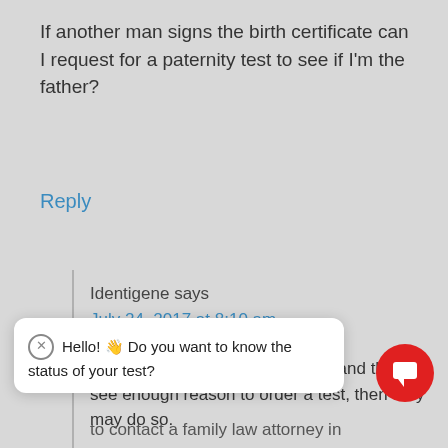If another man signs the birth certificate can I request for a paternity test to see if I'm the father?
Reply
Identigene says
July 24, 2017 at 8:10 am
Hi, Mike. If you petition the court and they see enough reason to order a test, then they may do so.
Hello! Do you want to know the status of your test?
to contact a family law attorney in